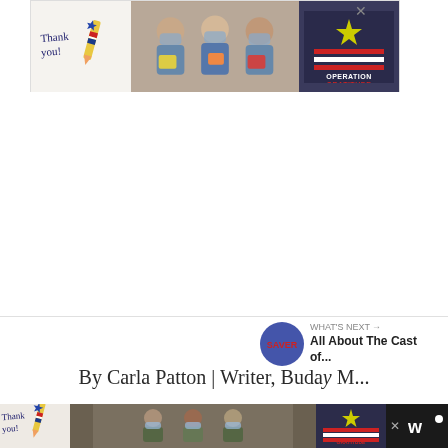[Figure (photo): Operation Gratitude advertisement banner showing 'Thank you!' handwritten text with a pencil graphic on the left, healthcare workers holding cards in the middle, and Operation Gratitude logo on the right with a close X button]
[Figure (other): Like (heart) button circle in blue, count of 1, and share button below on the right side]
WHAT'S NEXT → All About The Cast of...
By Carla Patton | Writer, Buday M...
[Figure (photo): Operation Gratitude advertisement banner at bottom on dark background showing 'Thank you!' handwritten text, military personnel photo, Operation Gratitude logo, and Wattpad logo on far right]